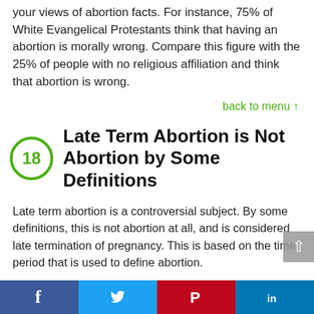your views of abortion facts. For instance, 75% of White Evangelical Protestants think that having an abortion is morally wrong. Compare this figure with the 25% of people with no religious affiliation and think that abortion is wrong.
back to menu ↑
18  Late Term Abortion is Not Abortion by Some Definitions
Late term abortion is a controversial subject. By some definitions, this is not abortion at all, and is considered late termination of pregnancy. This is based on the time period that is used to define abortion.
Because of the controversy surrounding late term abortion
[Figure (other): Social sharing bar at bottom with Facebook (blue), Twitter (light blue), Pinterest (red), LinkedIn (dark blue) buttons]